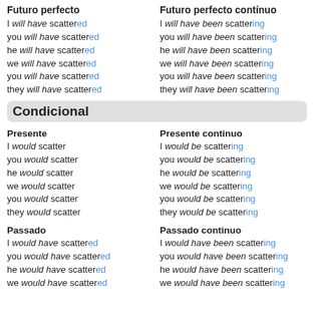Futuro perfecto
I will have scattered
you will have scattered
he will have scattered
we will have scattered
you will have scattered
they will have scattered
Futuro perfecto contínuo
I will have been scattering
you will have been scattering
he will have been scattering
we will have been scattering
you will have been scattering
they will have been scattering
Condicional
Presente
I would scatter
you would scatter
he would scatter
we would scatter
you would scatter
they would scatter
Presente continuo
I would be scattering
you would be scattering
he would be scattering
we would be scattering
you would be scattering
they would be scattering
Passado
I would have scattered
you would have scattered
he would have scattered
we would have scattered
Passado continuo
I would have been scattering
you would have been scattering
he would have been scattering
we would have been scattering